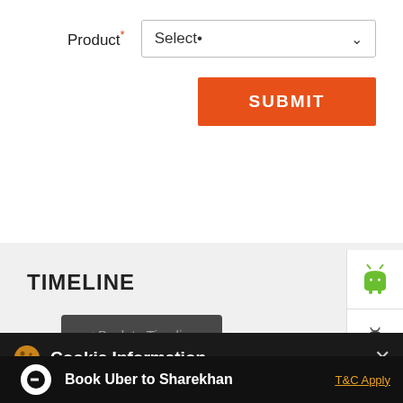Product* Select*
[Figure (screenshot): SUBMIT orange button]
TIMELINE
[Figure (other): Android and Apple app store icons in sidebar]
< Back to Timeline
Cookie Information
On our website, we use services (including from third-party providers) that help us to improve our online presence (optimization of website) and to display content that is geared to their interests. We need your consent before being able to use these services.
Book Uber to Sharekhan
T&C Apply